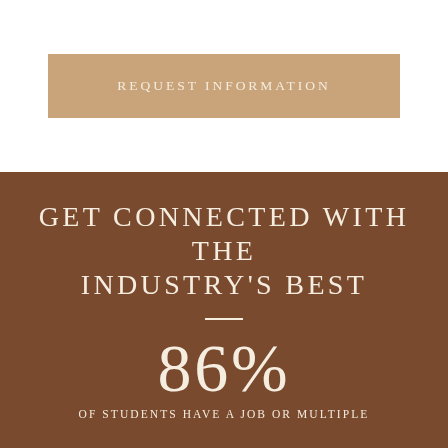REQUEST INFORMATION
GET CONNECTED WITH THE INDUSTRY'S BEST
86%
OF STUDENTS HAVE A JOB OR MULTIPLE